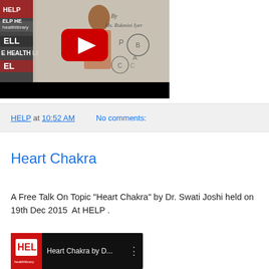[Figure (screenshot): YouTube video thumbnail showing a woman writing on a whiteboard at HELP (Health Education Library for People). A large red YouTube play button is visible in the center. The bottom portion of the video is a black bar.]
HELP at 10:52 AM   No comments:
Heart Chakra
A Free Talk On Topic "Heart Chakra" by Dr. Swati Joshi held on 19th Dec 2015  At HELP .
[Figure (screenshot): YouTube video thumbnail for 'Heart Chakra by D...' with HELP logo on the left and a three-dot menu on the right.]